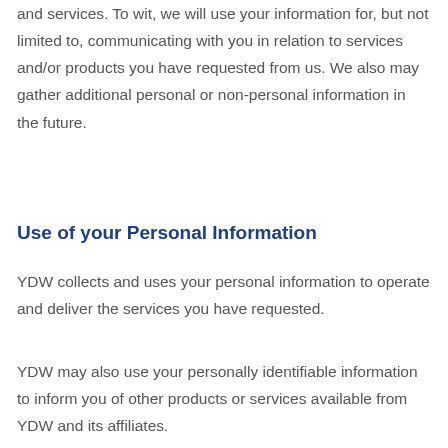and services. To wit, we will use your information for, but not limited to, communicating with you in relation to services and/or products you have requested from us. We also may gather additional personal or non-personal information in the future.
Use of your Personal Information
YDW collects and uses your personal information to operate and deliver the services you have requested.
YDW may also use your personally identifiable information to inform you of other products or services available from YDW and its affiliates.